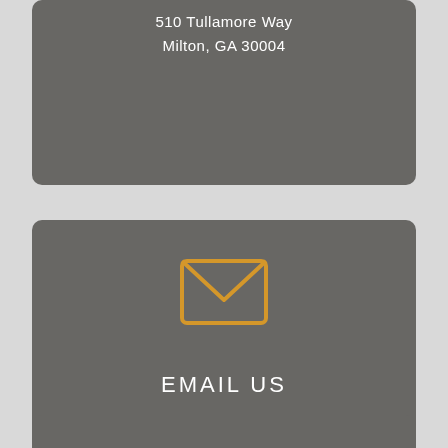510 Tullamore Way
Milton, GA 30004
[Figure (illustration): Envelope/mail icon drawn in orange/amber color outline style]
EMAIL US
hpettiford@gmail.com